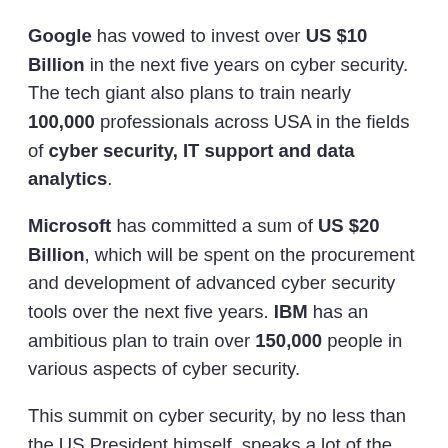Google has vowed to invest over US $10 Billion in the next five years on cyber security. The tech giant also plans to train nearly 100,000 professionals across USA in the fields of cyber security, IT support and data analytics.
Microsoft has committed a sum of US $20 Billion, which will be spent on the procurement and development of advanced cyber security tools over the next five years. IBM has an ambitious plan to train over 150,000 people in various aspects of cyber security.
This summit on cyber security, by no less than the US President himself, speaks a lot of the urgency of the matter. Given the Government's resolve on this issue, coupled with a positive response from large US companies, we are heading towards a safer tomorrow.